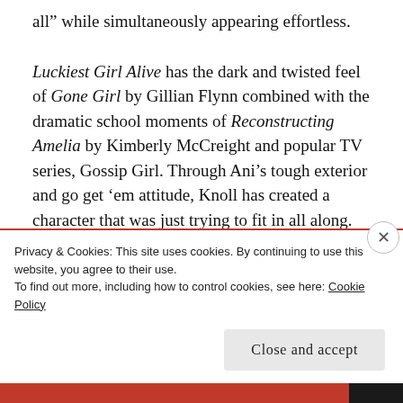all” while simultaneously appearing effortless.
Luckiest Girl Alive has the dark and twisted feel of Gone Girl by Gillian Flynn combined with the dramatic school moments of Reconstructing Amelia by Kimberly McCreight and popular TV series, Gossip Girl. Through Ani’s tough exterior and go get ‘em attitude, Knoll has created a character that was just trying to fit in all along.
I recommend this book to anyone who wants an exciting and unpredictable mystery about a
Privacy & Cookies: This site uses cookies. By continuing to use this website, you agree to their use.
To find out more, including how to control cookies, see here: Cookie Policy
Close and accept